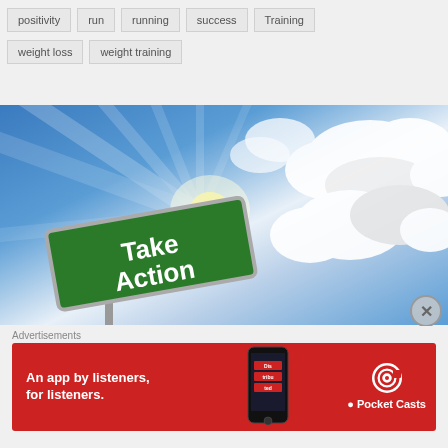positivity
run
running
success
Training
weight loss
weight training
[Figure (photo): Green road sign reading 'Take Action' tilted diagonally against a blue sky with white clouds and sunrays]
Advertisements
[Figure (other): Red advertisement banner for Pocket Casts app reading 'An app by listeners, for listeners.' with a smartphone image and Pocket Casts logo]